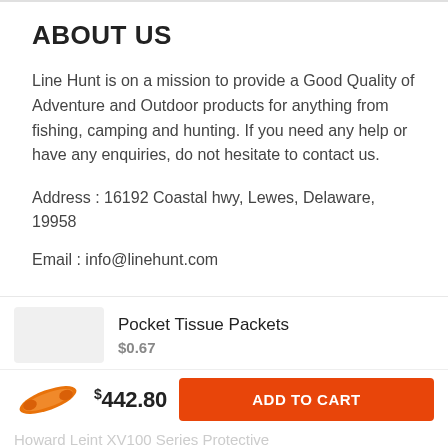ABOUT US
Line Hunt is on a mission to provide a Good Quality of Adventure and Outdoor products for anything from fishing, camping and hunting. If you need any help or have any enquiries, do not hesitate to contact us.
Address  : 16192 Coastal hwy, Lewes, Delaware, 19958
Email  : info@linehunt.com
Pocket Tissue Packets
$0.67
$442.80   ADD TO CART
Howard Leint XV100 Series Protective